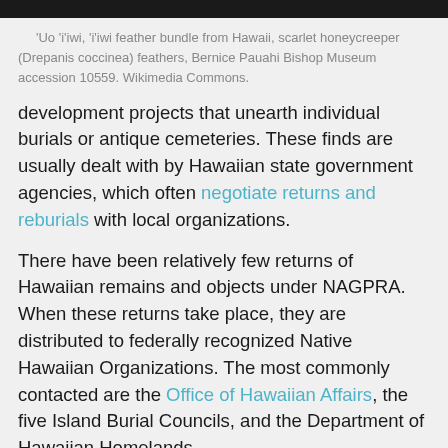[Figure (photo): Top portion of an image, showing dark background, partially cropped]
'Uo 'i'iwi, 'i'iwi feather bundle from Hawaii, scarlet honeycreeper (Drepanis coccinea) feathers, Bernice Pauahi Bishop Museum accession 10559. Wikimedia Commons.
development projects that unearth individual burials or antique cemeteries. These finds are usually dealt with by Hawaiian state government agencies, which often negotiate returns and reburials with local organizations.
There have been relatively few returns of Hawaiian remains and objects under NAGPRA. When these returns take place, they are distributed to federally recognized Native Hawaiian Organizations. The most commonly contacted are the Office of Hawaiian Affairs, the five Island Burial Councils, and the Department of Hawaiian Homelands.
The relationships between Hawaiian organizations over NAGPRA returns are characterized by lively controversies